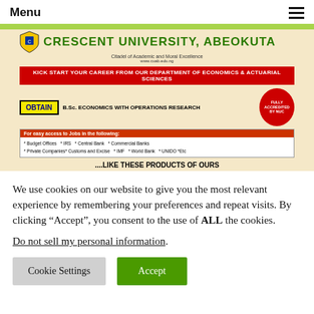Menu
[Figure (screenshot): Advertisement banner for Crescent University, Abeokuta promoting B.Sc. Economics with Operations Research from the Department of Economics & Actuarial Sciences. Shows university logo, tagline 'Citadel of Academic and Moral Excellence', red banner text 'KICK START YOUR CAREER FROM OUR DEPARTMENT OF ECONOMICS & ACTUARIAL SCIENCES', OBTAIN label with degree details, fully accredited by NUC badge, list of job access opportunities, and three student portrait photos.]
We use cookies on our website to give you the most relevant experience by remembering your preferences and repeat visits. By clicking “Accept”, you consent to the use of ALL the cookies.
Do not sell my personal information.
Cookie Settings
Accept